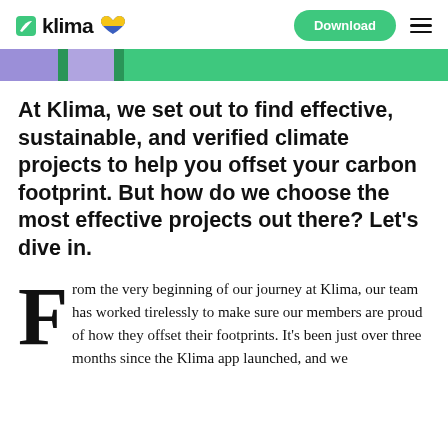klima | Download
[Figure (illustration): Partial banner strip showing green background with purple and green colored shapes/sections at the top of the article]
At Klima, we set out to find effective, sustainable, and verified climate projects to help you offset your carbon footprint. But how do we choose the most effective projects out there? Let's dive in.
From the very beginning of our journey at Klima, our team has worked tirelessly to make sure our members are proud of how they offset their footprints. It's been just over three months since the Klima app launched, and we